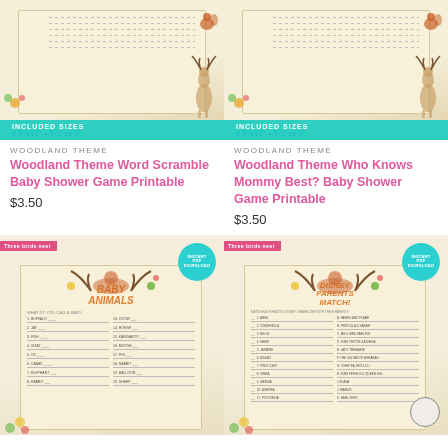[Figure (photo): Woodland Theme Word Scramble Baby Shower Game card with deer and squirrel illustration, included sizes 8.5x11 and 5.5x8.5]
[Figure (photo): Woodland Theme Who Knows Mommy Best? Baby Shower Game card with deer and squirrel illustration, included sizes 8.5x11 and 5.5x8.5]
WOODLAND THEME
Woodland Theme Word Scramble Baby Shower Game Printable
$3.50
WOODLAND THEME
Woodland Theme Who Knows Mommy Best? Baby Shower Game Printable
$3.50
[Figure (photo): Baby Animals woodland baby shower game card with INSTANT PDF DOWNLOAD badge and antler deer fox illustration]
[Figure (photo): Disney Parents Match baby shower game card with INSTANT PDF DOWNLOAD badge and antler deer fox illustration]